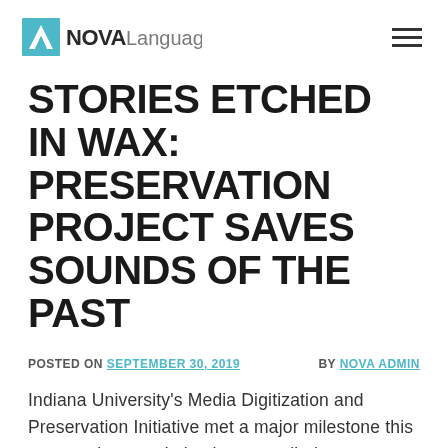NOVA Languages
STORIES ETCHED IN WAX: PRESERVATION PROJECT SAVES SOUNDS OF THE PAST
POSTED ON SEPTEMBER 30, 2019 BY NOVA ADMIN
Indiana University's Media Digitization and Preservation Initiative met a major milestone this summer by completing its wax cylinder digitization project.
Wax cylinders are antiquated audio recordings made